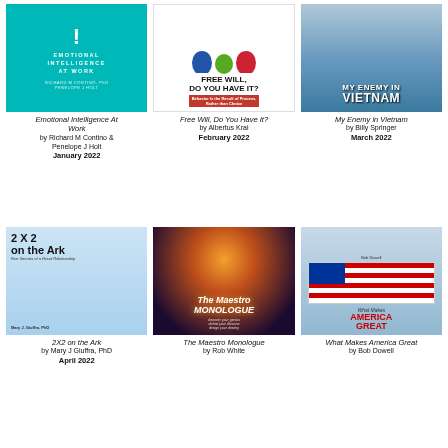[Figure (illustration): Book cover: Emotional Intelligence At Work, teal background with white exclamation mark]
Emotional Intelligence At Work
by Richard M Contino & Penelope J Holt
January 2022
[Figure (illustration): Book cover: Free Will, Do You Have It? with blue and red profile silhouettes]
Free Will, Do You Have It?
by Albertus Kral
February 2022
[Figure (illustration): Book cover: My Enemy in Vietnam with people and water background]
My Enemy in Vietnam
by Billy Springer
March 2022
[Figure (illustration): Book cover: 2X2 on the Ark, Five Secrets of a Great Relationship, with giraffes]
2X2 on the Ark
by Mary J Giuffra, PhD
April 2022
[Figure (illustration): Book cover: The Maestro Monologue, dark cosmic background with silhouette]
The Maestro Monologue
by Rob White
[Figure (illustration): Book cover: What Makes America Great by Bob Dowell, American flag]
What Makes America Great
by Bob Dowell